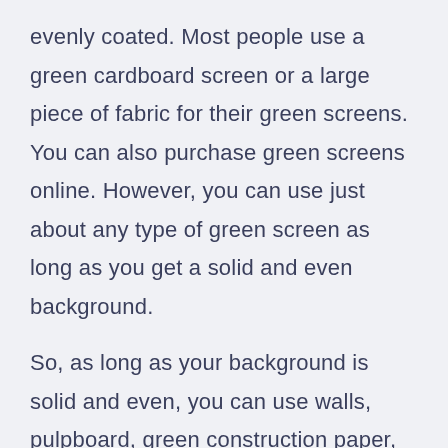evenly coated. Most people use a green cardboard screen or a large piece of fabric for their green screens. You can also purchase green screens online. However, you can use just about any type of green screen as long as you get a solid and even background.

So, as long as your background is solid and even, you can use walls, pulpboard, green construction paper, sheets, blankets—anything could be your green screen.